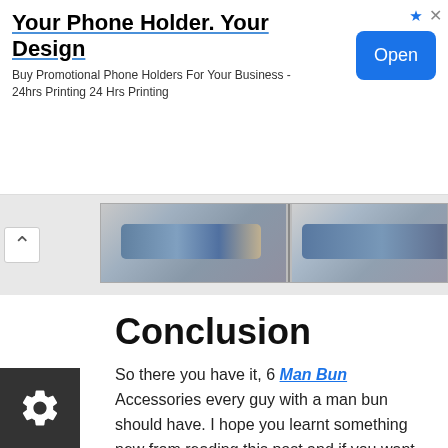[Figure (screenshot): Advertisement banner: 'Your Phone Holder. Your Design' with subtitle 'Buy Promotional Phone Holders For Your Business - 24hrs Printing 24 Hrs Printing' and an 'Open' button]
[Figure (photo): Image strip showing close-up photos of a man's eyes and face, with a chevron/back arrow button on the left]
Conclusion
So there you have it, 6 Man Bun Accessories every guy with a man bun should have. I hope you learnt something new from reading this post and if you want to get your hands on any of the man bun accessories I mentioned in this post, you can find all the links above or by clicking all the images of each product...